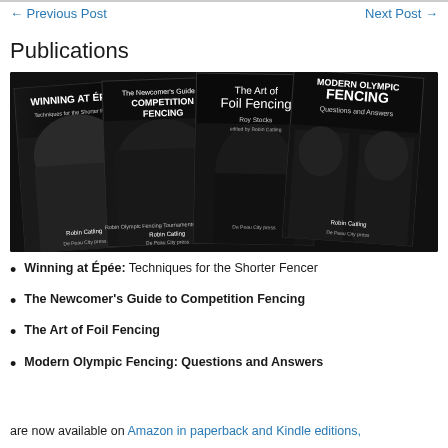← Previous Post    Next Post →
Publications
[Figure (photo): Four fencing book covers arranged in a fan: 'Winning at Épée: Techniques for the Shorter Fencer' by Robin Catling, 'The Newcomer's Guide to Competition Fencing' by Robin Catling, 'The Art of Foil Fencing' by Roy Stocks edited by Robin Catling, 'Modern Olympic Fencing: Questions and Answers' by Robin Catling. All have black covers with fencing imagery.]
Winning at Épée: Techniques for the Shorter Fencer
The Newcomer's Guide to Competition Fencing
The Art of Foil Fencing
Modern Olympic Fencing: Questions and Answers
are now available on Amazon in paperback and Kindle editions,